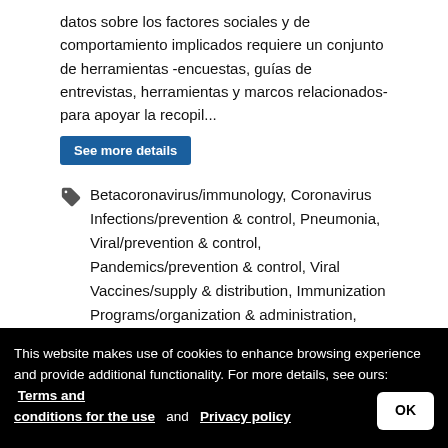datos sobre los factores sociales y de comportamiento implicados requiere un conjunto de herramientas -encuestas, guías de entrevistas, herramientas y marcos relacionados- para apoyar la recopil...
See more details
Betacoronavirus/immunology, Coronavirus Infections/prevention & control, Pneumonia, Viral/prevention & control, Pandemics/prevention & control, Viral Vaccines/supply & distribution, Immunization Programs/organization & administration, Access to Essential Medicines and Health Technologies, Health Equity, Viral Vaccines/adverse effects, Health Communication, Communication, Health Systems/organization & administration, Social Participation, Vaccine Potency, Risk Groups, Quarantine, Social Isolation, COVID-19, Infodemia
Minitaller sobre la aceptación y el uso de la...
This website makes use of cookies to enhance browsing experience and provide additional functionality. For more details, see ours: Terms and conditions for the use and Privacy policy